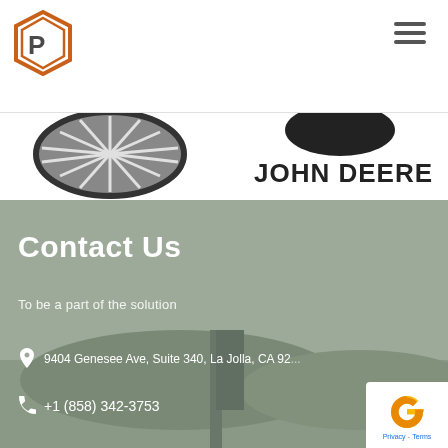[Figure (logo): Company logo with orange/brown hexagon house shape and P letter inside, with 'IP' style mark]
[Figure (illustration): Hamburger menu icon (three horizontal lines) in dark gray on top right]
[Figure (logo): Partial view of a circular gray logo with sunburst pattern (left) and John Deere black oval logo with 'JOHN DEERE' text (right)]
[Figure (photo): Background photo of misty landscape with trees and a vertical post/pole structure, muted green-gray tones]
Contact Us
To be a part of the solution
9404 Genesee Ave, Suite 340, La Jolla, CA 92...
+1 (858) 342-3753
[Figure (other): reCAPTCHA badge with yellow/orange C shape logo and 'Privacy - Terms' text]